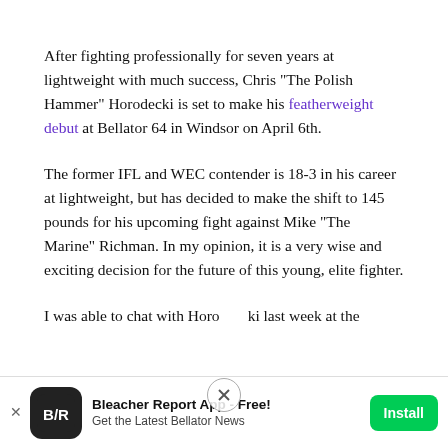After fighting professionally for seven years at lightweight with much success, Chris "The Polish Hammer" Horodecki is set to make his featherweight debut at Bellator 64 in Windsor on April 6th.
The former IFL and WEC contender is 18-3 in his career at lightweight, but has decided to make the shift to 145 pounds for his upcoming fight against Mike "The Marine" Richman. In my opinion, it is a very wise and exciting decision for the future of this young, elite fighter.
I was able to chat with Horodecki last week at the
[Figure (screenshot): Bleacher Report App advertisement bar at bottom with app icon, title 'Bleacher Report App - Free!', subtitle 'Get the Latest Bellator News', and green Install button]